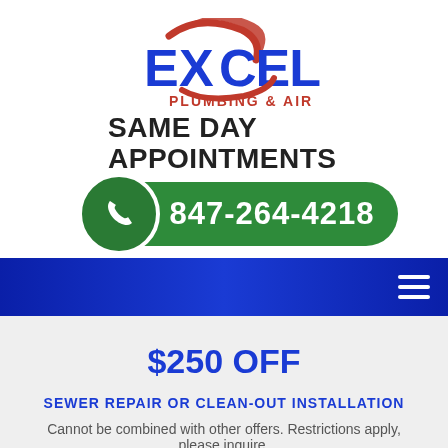[Figure (logo): Excel Plumbing & Air logo with stylized red swoosh through the X]
SAME DAY APPOINTMENTS
847-264-4218
[Figure (other): Navigation bar with blue gradient background and hamburger menu icon]
$250 OFF
SEWER REPAIR OR CLEAN-OUT INSTALLATION
Cannot be combined with other offers. Restrictions apply, please inquire.
PLUMBING SPECIAL